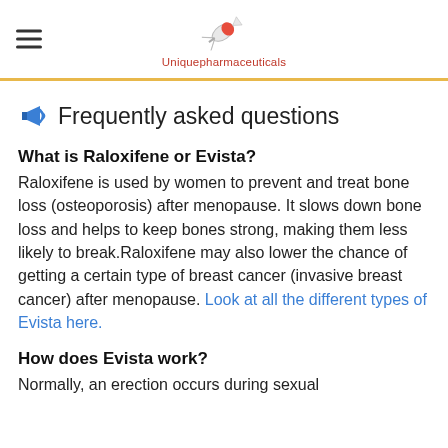Uniquepharmaceuticals
Frequently asked questions
What is Raloxifene or Evista?
Raloxifene is used by women to prevent and treat bone loss (osteoporosis) after menopause. It slows down bone loss and helps to keep bones strong, making them less likely to break.Raloxifene may also lower the chance of getting a certain type of breast cancer (invasive breast cancer) after menopause. Look at all the different types of Evista here.
How does Evista work?
Normally, an erection occurs during sexual